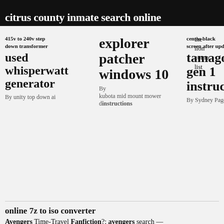citrus county inmate search online
415v to 240v step down transformer
used whisperwatt generator
By unity top down ai
explorer patcher windows 10
By
kubota mid mount mower d...
centos black screen after update
tamagotchi gen 1 instructions
By Sydney Page
the
lion
comp
list
online 7z to iso converter
Avengers Time-Travel Fanfiction?: avengers search —